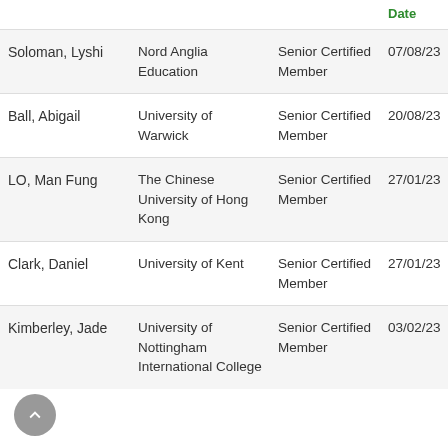|  |  |  | Date |  |
| --- | --- | --- | --- | --- |
| Soloman, Lyshi | Nord Anglia Education | Senior Certified Member | 07/08/23 | 4 |
| Ball, Abigail | University of Warwick | Senior Certified Member | 20/08/23 | 4 |
| LO, Man Fung | The Chinese University of Hong Kong | Senior Certified Member | 27/01/23 | 2 |
| Clark, Daniel | University of Kent | Senior Certified Member | 27/01/23 | 2 |
| Kimberley, Jade | University of Nottingham International College | Senior Certified Member | 03/02/23 | 2 |